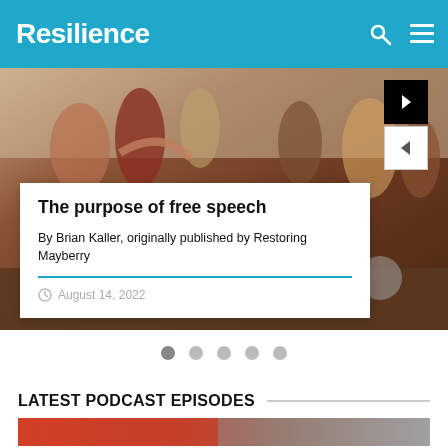Resilience
[Figure (photo): A classical painting showing multiple figures in robes and historical dress, cropped hero image behind article card]
The purpose of free speech
By Brian Kaller, originally published by Restoring Mayberry
August 14, 2022
LATEST PODCAST EPISODES
[Figure (photo): Bottom strip showing partial image, orange/red toned]